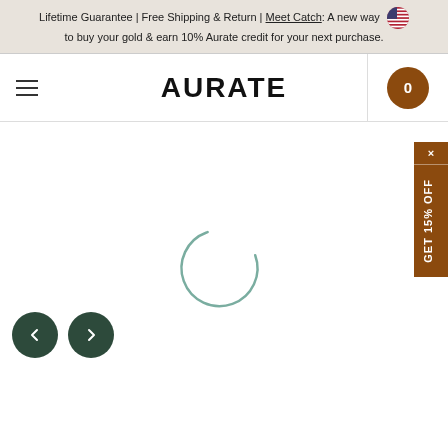Lifetime Guarantee | Free Shipping & Return | Meet Catch: A new way to buy your gold & earn 10% Aurate credit for your next purchase.
AURATE
[Figure (logo): US flag circle icon in navigation bar]
[Figure (infographic): Loading spinner circle (partial arc) centered in main content area]
[Figure (infographic): GET 15% OFF side tab banner on right edge]
[Figure (infographic): Two dark green circular navigation arrow buttons at bottom left]